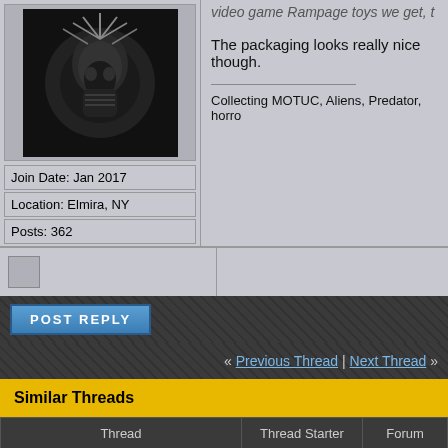[Figure (photo): Dark avatar image, appears to be a stylized sci-fi or horror figure]
Join Date: Jan 2017
Location: Elmira, NY
Posts: 362
The packaging looks really nice though.
Collecting MOTUC, Aliens, Predator, horro
POST REPLY
« Previous Thread | Next Thread »
Similar Threads
| Thread | Thread Starter | Forum |
| --- | --- | --- |
| Porting toys INTO video game! No joke! | Octopus Crime | Video Game Discussion |
| SDCC 2011 Mezco Video Game Toys | Joe Moore | Toy and Action Figure New |